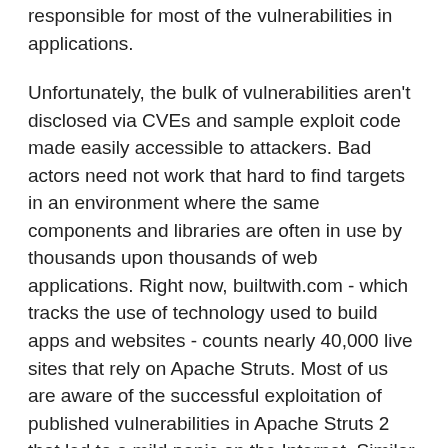responsible for most of the vulnerabilities in applications.
Unfortunately, the bulk of vulnerabilities aren't disclosed via CVEs and sample exploit code made easily accessible to attackers. Bad actors need not work that hard to find targets in an environment where the same components and libraries are often in use by thousands upon thousands of web applications. Right now, builtwith.com - which tracks the use of technology used to build apps and websites - counts nearly 40,000 live sites that rely on Apache Struts. Most of us are aware of the successful exploitation of published vulnerabilities in Apache Struts 2 that led to a mild panic on the Internet. Similar panics have been caused by serious vulnerability disclosures involving other heavily used open source and third-party libraries, such as OpenSSL.
But it's not just the choice of whether we include libraries or third-party components or build apps on open source frameworks that's potentially problematic. Other choices we make during development can also have serious repercussions, particularly when they lead to insecure development practices.